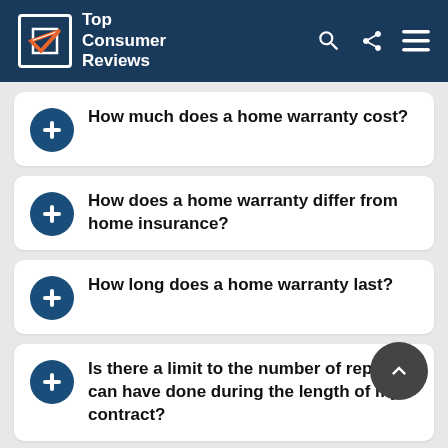Top Consumer Reviews
How much does a home warranty cost?
How does a home warranty differ from home insurance?
How long does a home warranty last?
Is there a limit to the number of repairs I can have done during the length of my contract?
How do I request service through